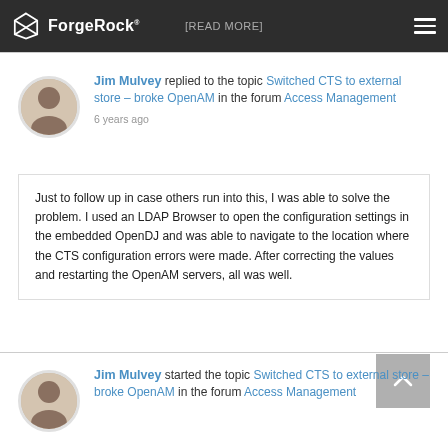ForgeRock [READ MORE]
Jim Mulvey replied to the topic Switched CTS to external store – broke OpenAM in the forum Access Management
6 years ago
Just to follow up in case others run into this, I was able to solve the problem. I used an LDAP Browser to open the configuration settings in the embedded OpenDJ and was able to navigate to the location where the CTS configuration errors were made. After correcting the values and restarting the OpenAM servers, all was well.
Jim Mulvey started the topic Switched CTS to external store – broke OpenAM in the forum Access Management